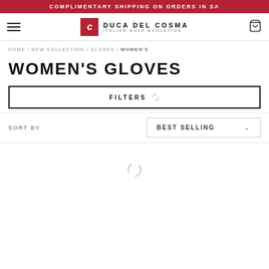COMPLIMENTARY SHIPPING ON ORDERS IN SA
[Figure (logo): Duca Del Cosma — Italian Golf Evolution logo with red square icon containing stylized C]
HOME > NEW COLLECTION > GLOVES > WOMEN'S
WOMEN'S GLOVES
FILTERS
SORT BY   BEST SELLING